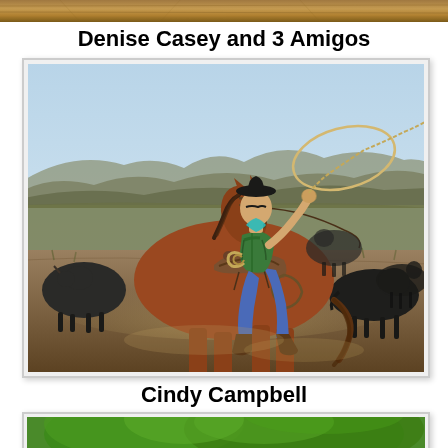[Figure (photo): Top partial strip showing a wooden or leather textured surface, brown/tan tones, cropped at top of page]
Denise Casey and 3 Amigos
[Figure (photo): A cowgirl wearing a green vest, blue jeans, and a black hat is riding a chestnut horse and swinging a lasso rope above her head. Several black cattle are visible around the horse. The setting is an open rangeland with hills in the background and dusty ground.]
Cindy Campbell
[Figure (photo): Partial view of three people (children or young women) wearing white cowboy hats and bandanas, standing under a large green tree. Only the top portion of the image is visible.]